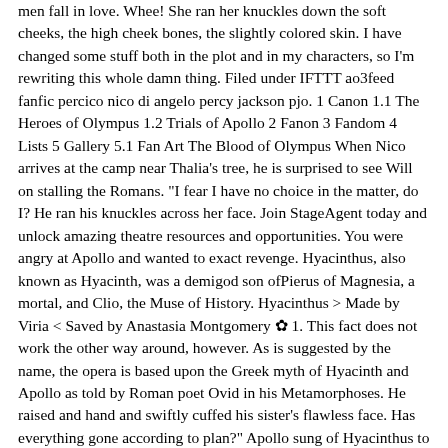men fall in love. Whee! She ran her knuckles down the soft cheeks, the high cheek bones, the slightly colored skin. I have changed some stuff both in the plot and in my characters, so I'm rewriting this whole damn thing. Filed under IFTTT ao3feed fanfic percico nico di angelo percy jackson pjo. 1 Canon 1.1 The Heroes of Olympus 1.2 Trials of Apollo 2 Fanon 3 Fandom 4 Lists 5 Gallery 5.1 Fan Art The Blood of Olympus When Nico arrives at the camp near Thalia's tree, he is surprised to see Will on stalling the Romans. "I fear I have no choice in the matter, do I? He ran his knuckles across her face. Join StageAgent today and unlock amazing theatre resources and opportunities. You were angry at Apollo and wanted to exact revenge. Hyacinthus, also known as Hyacinth, was a demigod son ofPierus of Magnesia, a mortal, and Clio, the Muse of History. Hyacinthus > Made by Viria < Saved by Anastasia Montgomery ✿ 1. This fact does not work the other way around, however. As is suggested by the name, the opera is based upon the Greek myth of Hyacinth and Apollo as told by Roman poet Ovid in his Metamorphoses. He raised and hand and swiftly cuffed his sister's flawless face. Has everything gone according to plan?" Apollo sung of Hyacinthus to the tune of his lyre and caused a flower to arise from his blood. d. Apollo and Hyacinthus A POLLO was passionately fond of a youth named Hyacinthus. "Daphne" Apollo whispered. Eros smiled at his mother. Hyacinthus is Greek God and former demigod Son of Hades.Upon gaining immortality, he became the God of Flowers, First Bloom, and